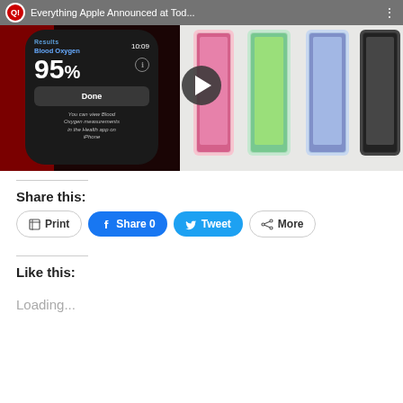[Figure (screenshot): YouTube video thumbnail showing Apple Watch with Blood Oxygen 95% reading on left side, and iPad Air in multiple colors on right side. Title bar reads 'Everything Apple Announced at Tod...' with play button overlay in center.]
Share this:
Print
Share 0
Tweet
More
Like this:
Loading...